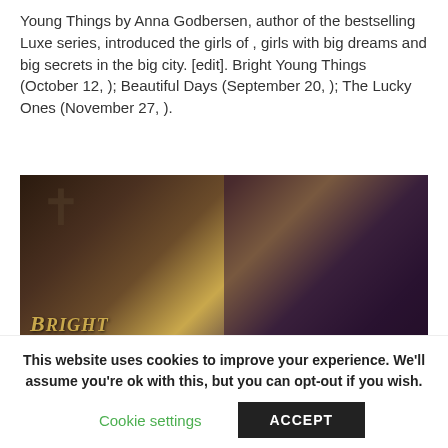Young Things by Anna Godbersen, author of the bestselling Luxe series, introduced the girls of , girls with big dreams and big secrets in the big city. [edit]. Bright Young Things (October 12, ); Beautiful Days (September 20, ); The Lucky Ones (November 27, ).
[Figure (photo): Book covers for 'Bright Young Things' and 'Beautiful Days' by Anna Godbersen, showing two young women in 1920s style against dramatic backgrounds with gold art deco title text.]
This website uses cookies to improve your experience. We'll assume you're ok with this, but you can opt-out if you wish.